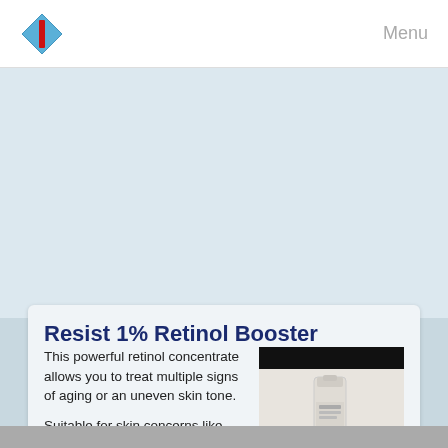Menu
Resist 1% Retinol Booster
This powerful retinol concentrate allows you to treat multiple signs of aging or an uneven skin tone.
[Figure (photo): Product photo of Resist 1% Retinol Booster bottle, small white cylindrical bottle on light background with black bars at top and bottom of image]
Suitable for skin concerns like acne breakouts, signs of aging and wrinkles, the Resist 1% Retinol Booster is suitable for all skin types. The soothing willow herbs and anti-inflammatories also help to calm skin.
What makes this product unique?
The Resist 1% Retinol Booster is a concentrate that can be easily added to your favourite moisturizer or serum. This anti-aging, wrinkle-smoothing...